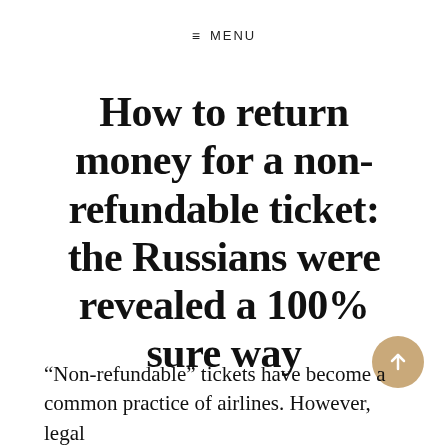≡ MENU
How to return money for a non-refundable ticket: the Russians were revealed a 100% sure way
“Non-refundable” tickets have become a common practice of airlines. However, legal